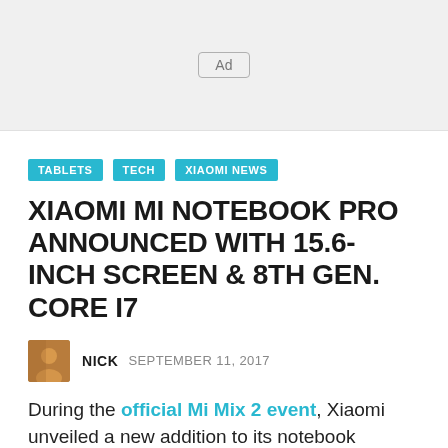[Figure (other): Ad banner placeholder with 'Ad' label in a light gray box]
TABLETS
TECH
XIAOMI NEWS
XIAOMI MI NOTEBOOK PRO ANNOUNCED WITH 15.6-INCH SCREEN & 8TH GEN. CORE I7
NICK  SEPTEMBER 11, 2017
During the official Mi Mix 2 event, Xiaomi unveiled a new addition to its notebook portfolio, one with impressive technical specs. Meet Xiaomi Mi Notebook Pro, a laptop that's